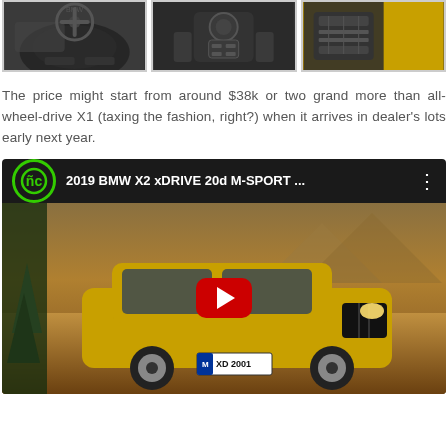[Figure (photo): Three car interior/detail photos in a row: steering wheel interior, gear shift console, and engine bay with yellow bodywork]
The price might start from around $38k or two grand more than all-wheel-drive X1 (taxing the fashion, right?) when it arrives in dealer's lots early next year.
[Figure (screenshot): YouTube video embed showing '2019 BMW X2 xDRIVE 20d M-SPORT ...' with a thumbnail of a gold/yellow BMW X2 driving on a dirt road, with green channel logo and red play button]